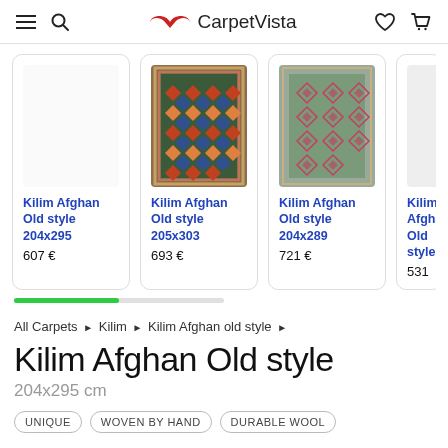CarpetVista
[Figure (screenshot): Horizontal carousel of Kilim Afghan Old style carpet product cards. Card 1 (empty/blank image): Kilim Afghan Old style 204x295, 607€. Card 2 (colorful geometric kilim): Kilim Afghan Old style 205x303, 693€. Card 3 (teal/pink diamond pattern kilim): Kilim Afghan Old style 204x289, 721€. Card 4 (partial, clipped): Kilim Afghan Old style, 531...]
All Carpets ▶ Kilim ▶ Kilim Afghan old style ▶
Kilim Afghan Old style
204x295 cm
UNIQUE   WOVEN BY HAND   DURABLE WOOL